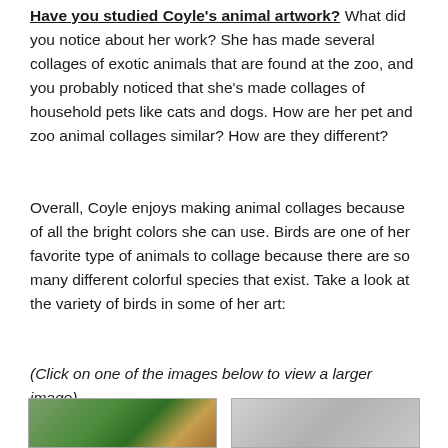Have you studied Coyle's animal artwork? What did you notice about her work? She has made several collages of exotic animals that are found at the zoo, and you probably noticed that she's made collages of household pets like cats and dogs. How are her pet and zoo animal collages similar? How are they different?
Overall, Coyle enjoys making animal collages because of all the bright colors she can use. Birds are one of her favorite type of animals to collage because there are so many different colorful species that exist. Take a look at the variety of birds in some of her art:
(Click on one of the images below to view a larger image)
[Figure (photo): Two image thumbnails side by side at the bottom of the page showing Coyle's bird artwork]